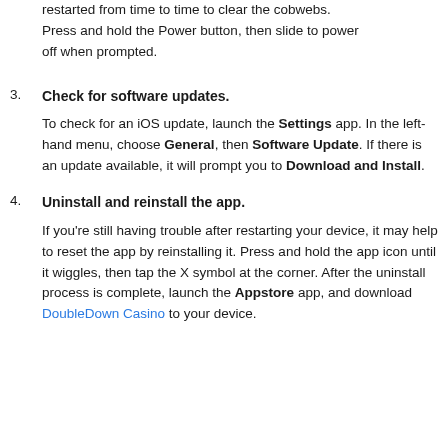restarted from time to time to clear the cobwebs. Press and hold the Power button, then slide to power off when prompted.
3. Check for software updates.
To check for an iOS update, launch the Settings app. In the left-hand menu, choose General, then Software Update. If there is an update available, it will prompt you to Download and Install.
4. Uninstall and reinstall the app.
If you're still having trouble after restarting your device, it may help to reset the app by reinstalling it. Press and hold the app icon until it wiggles, then tap the X symbol at the corner. After the uninstall process is complete, launch the Appstore app, and download DoubleDown Casino to your device.